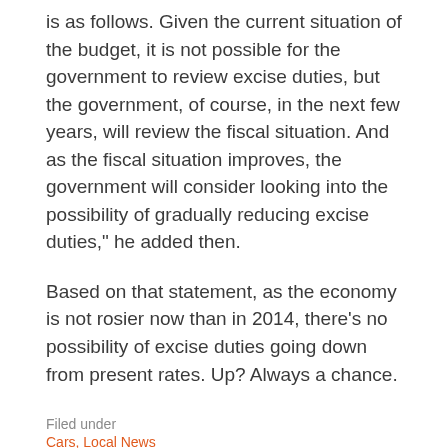is as follows. Given the current situation of the budget, it is not possible for the government to review excise duties, but the government, of course, in the next few years, will review the fiscal situation. And as the fiscal situation improves, the government will consider looking into the possibility of gradually reducing excise duties," he added then.
Based on that statement, as the economy is not rosier now than in 2014, there’s no possibility of excise duties going down from present rates. Up? Always a chance.
Filed under
Cars, Local News